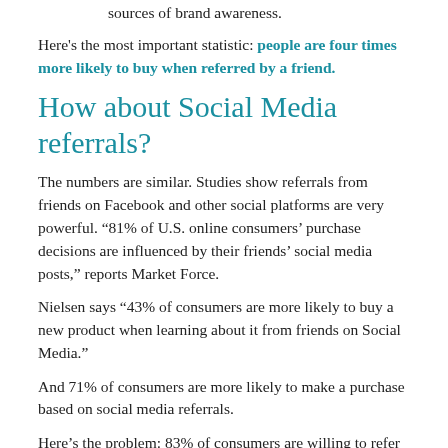sources of brand awareness.
Here's the most important statistic: people are four times more likely to buy when referred by a friend.
How about Social Media referrals?
The numbers are similar. Studies show referrals from friends on Facebook and other social platforms are very powerful. “81% of U.S. online consumers’ purchase decisions are influenced by their friends’ social media posts,” reports Market Force.
Nielsen says “43% of consumers are more likely to buy a new product when learning about it from friends on Social Media.”
And 71% of consumers are more likely to make a purchase based on social media referrals.
Here’s the problem: 83% of consumers are willing to refer after a positive experience — yet only 29% actually do. (Nielsen)